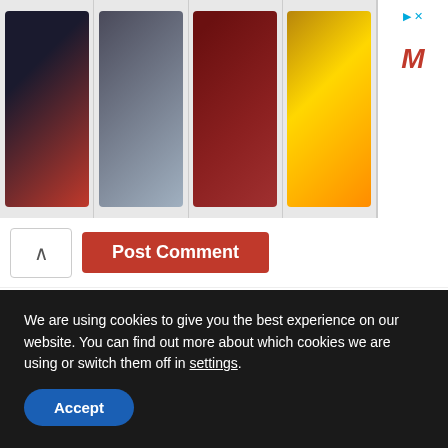[Figure (photo): Advertisement banner showing four product images: iPhone 13 Pro (dark), iPhone 12 Pro group in multiple colors, red crocodile handbag set, and iPhone 13 Pro in gold. A media market logo (red M) appears on the right.]
Post Comment
[Figure (other): Spotify podcast player card in red showing 'Monkeypox: Q&A with D' from Sep 2018 · Outbreak News Interviews, duration 18:20, with play button and progress bar. Outbreak News Interviews thumbnail on the left with biohazard symbol.]
We are using cookies to give you the best experience on our website. You can find out more about which cookies we are using or switch them off in settings.
Accept